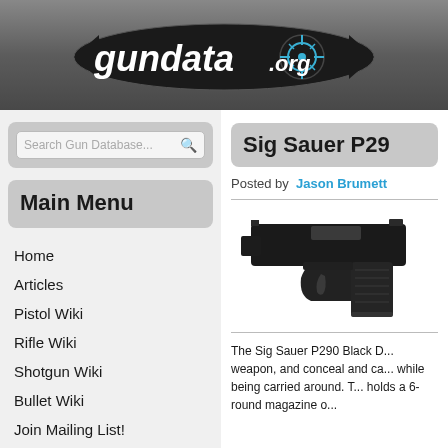[Figure (logo): gundata.org logo with crosshair/scope icon on dark banner background]
Search Gun Database...
Main Menu
Home
Articles
Pistol Wiki
Rifle Wiki
Shotgun Wiki
Bullet Wiki
Join Mailing List!
Sig Sauer P29...
Posted by  Jason Brumett
[Figure (photo): Photo of a Sig Sauer P290 black pistol handgun]
The Sig Sauer P290 Black D... weapon, and conceal and ca... while being carried around. T... holds a 6-round magazine o...